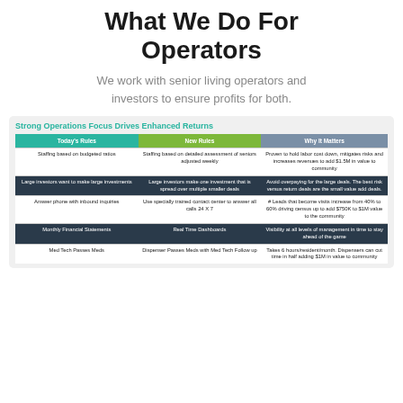What We Do For Operators
We work with senior living operators and investors to ensure profits for both.
| Today's Rules | New Rules | Why It Matters |
| --- | --- | --- |
| Staffing based on budgeted ratios | Staffing based on detailed assessment of seniors adjusted weekly | Proven to hold labor cost down, mitigates risks and increases revenues to add $1.5M in value to community |
| Large investors want to make large investments | Large investors make one investment that is spread over multiple smaller deals | Avoid overpaying for the large deals. The best risk versus return deals are the small value add deals. |
| Answer phone with inbound inquiries | Use specially trained contact center to answer all calls 24 X 7 | # Leads that become visits increase from 40% to 60% driving census up to add $750K to $1M value to the community |
| Monthly Financial Statements | Real Time Dashboards | Visibility at all levels of management in time to stay ahead of the game |
| Med Tech Passes Meds | Dispenser Passes Meds with Med Tech Follow up | Takes 6 hours/resident/month. Dispensers can cut time in half adding $1M in value to community |